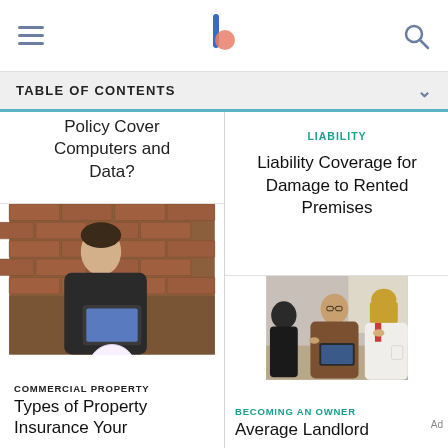Navigation bar with hamburger menu, site logo, and search icon
TABLE OF CONTENTS
Policy Cover Computers and Data?
[Figure (photo): Man in suit looking at a tablet device against a brick wall background]
COMMERCIAL PROPERTY
Types of Property Insurance Your
LIABILITY
Liability Coverage for Damage to Rented Premises
[Figure (photo): Business people in a meeting around a table, man with glasses gesturing, woman with blonde hair listening]
BECOMING AN OWNER
Average Landlord
Ad